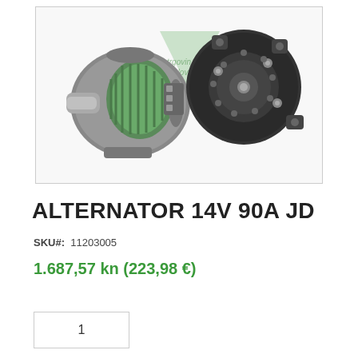[Figure (photo): Two alternators shown side by side: one from the front/side showing green rotor fins and metallic casing, and one from the back showing the circular connector plate. A watermark with a green triangle and text 'trgovina dijelova' is overlaid.]
ALTERNATOR 14V 90A JD
SKU#: 11203005
1.687,57 kn (223,98 €)
1